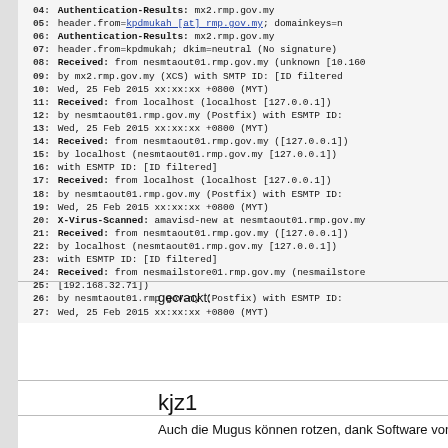04: Authentication-Results: mx2.rmp.gov.my
05:     header.from=kpdmukah [at] rmp.gov.my; domainkeys=n
06: Authentication-Results: mx2.rmp.gov.my
07:     header.from=kpdmukah; dkim=neutral (No signature)
08: Received: from nesmtaout01.rmp.gov.my (unknown [10.160
09:     by mx2.rmp.gov.my (XCS) with SMTP ID: [ID filtered
10:     Wed, 25 Feb 2015 xx:xx:xx +0800 (MYT)
11: Received: from localhost (localhost [127.0.0.1])
12:     by nesmtaout01.rmp.gov.my (Postfix) with ESMTP ID:
13:     Wed, 25 Feb 2015 xx:xx:xx +0800 (MYT)
14: Received: from nesmtaout01.rmp.gov.my ([127.0.0.1])
15:     by localhost (nesmtaout01.rmp.gov.my [127.0.0.1])
16:     with ESMTP ID: [ID filtered]
17: Received: from localhost (localhost [127.0.0.1])
18:     by nesmtaout01.rmp.gov.my (Postfix) with ESMTP ID:
19:     Wed, 25 Feb 2015 xx:xx:xx +0800 (MYT)
20: X-Virus-Scanned: amavisd-new at nesmtaout01.rmp.gov.my
21: Received: from nesmtaout01.rmp.gov.my ([127.0.0.1])
22:     by localhost (nesmtaout01.rmp.gov.my [127.0.0.1])
23:     with ESMTP ID: [ID filtered]
24: Received: from nesmailstore01.rmp.gov.my (nesmailstore
25: [192.168.32.71])
26:     by nesmtaout01.rmp.gov.my (Postfix) with ESMTP ID:
27:     Wed, 25 Feb 2015 xx:xx:xx +0800 (MYT)
gecrackt:
kjz1
Auch die Mugus können rotzen, dank Software von der Russenma